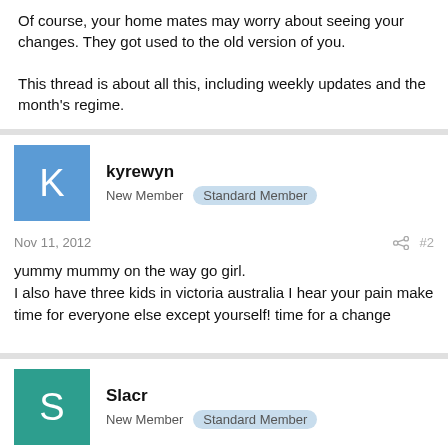Of course, your home mates may worry about seeing your changes. They got used to the old version of you.

This thread is about all this, including weekly updates and the month's regime.
kyrewyn
New Member  Standard Member
Nov 11, 2012  #2
yummy mummy on the way go girl.
I also have three kids in victoria australia I hear your pain make time for everyone else except yourself! time for a change
Slacr
New Member  Standard Member
Nov 12, 2012  #3